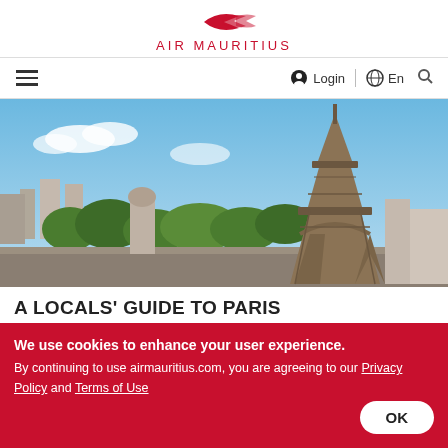[Figure (logo): Air Mauritius logo: red bird/arrow graphic above stylized 'air mauriTius' text in red]
≡   Login   🌐 | En   🔍
[Figure (photo): Aerial view of Paris with the Eiffel Tower prominent on the right, green trees and city buildings in the background under a blue sky]
A LOCALS' GUIDE TO PARIS
08 Dec 2018   SEE MORE →
We use cookies to enhance your user experience. By continuing to use airmauritius.com, you are agreeing to our Privacy Policy and Terms of Use